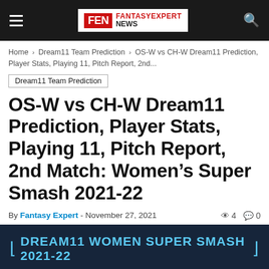FANTASYEXPERT NEWS
Home > Dream11 Team Prediction > OS-W vs CH-W Dream11 Prediction, Player Stats, Playing 11, Pitch Report, 2nd...
Dream11 Team Prediction
OS-W vs CH-W Dream11 Prediction, Player Stats, Playing 11, Pitch Report, 2nd Match: Women's Super Smash 2021-22
By Fantasy Expert - November 27, 2021   4   0
[Figure (infographic): Dark navy banner with text DREAM11 WOMEN SUPER SMASH 2021-22 in cyan and FantasyExpert News logo below]